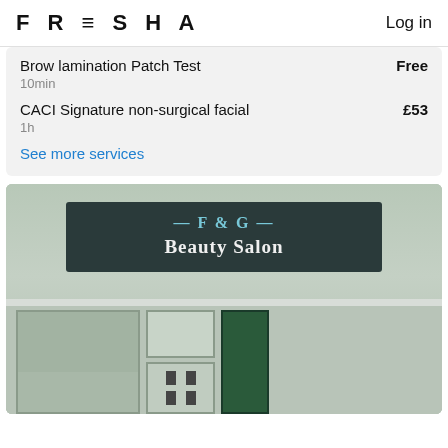FRESHA   Log in
Brow lamination Patch Test — Free
10min
CACI Signature non-surgical facial — £53
1h
See more services
[Figure (photo): Exterior photo of F&G Beauty Salon storefront with dark signboard showing '—F&G—' and 'Beauty Salon' in white/teal lettering, entrance door and windows visible below]